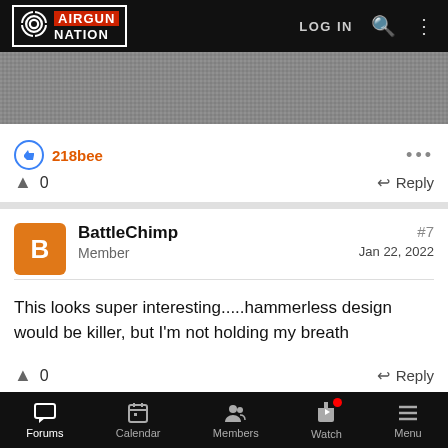[Figure (screenshot): Airgun Nation website header with logo, LOG IN, search and menu icons on black background]
[Figure (photo): Partial photo visible at top, dark grey textured surface]
218bee
0   Reply
BattleChimp
Member
#7
Jan 22, 2022
This looks super interesting.....hammerless design would be killer, but I'm not holding my breath
0   Reply